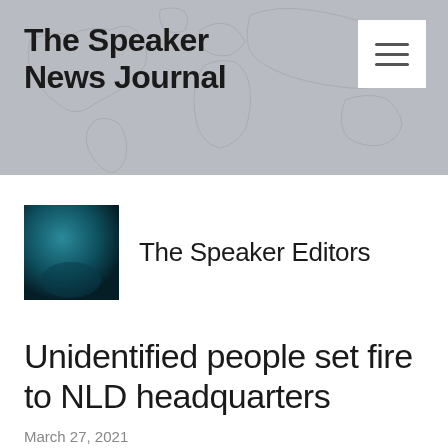The Speaker News Journal
The Speaker Editors
Unidentified people set fire to NLD headquarters
March 27, 2021
Share this +